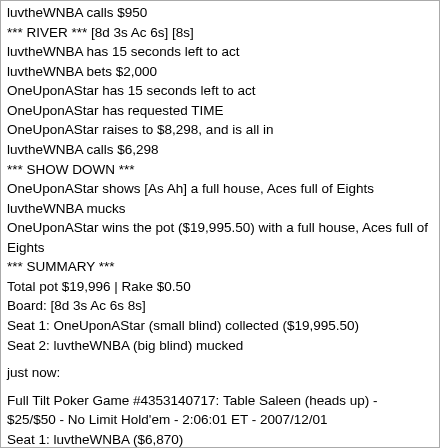luvtheWNBA calls $950
*** RIVER *** [8d 3s Ac 6s] [8s]
luvtheWNBA has 15 seconds left to act
luvtheWNBA bets $2,000
OneUponAStar has 15 seconds left to act
OneUponAStar has requested TIME
OneUponAStar raises to $8,298, and is all in
luvtheWNBA calls $6,298
*** SHOW DOWN ***
OneUponAStar shows [As Ah] a full house, Aces full of Eights
luvtheWNBA mucks
OneUponAStar wins the pot ($19,995.50) with a full house, Aces full of Eights
*** SUMMARY ***
Total pot $19,996 | Rake $0.50
Board: [8d 3s Ac 6s 8s]
Seat 1: OneUponAStar (small blind) collected ($19,995.50)
Seat 2: luvtheWNBA (big blind) mucked
just now:
Full Tilt Poker Game #4353140717: Table Saleen (heads up) - $25/$50 - No Limit Hold'em - 2:06:01 ET - 2007/12/01
Seat 1: luvtheWNBA ($6,870)
Seat 2: OneUponAStar ($23,182.50)
luvtheWNBA posts the small blind of $25
OneUponAStar posts the big blind of $50
The button is in seat #1
*** HOLE CARDS ***
luvtheWNBA raises to $150